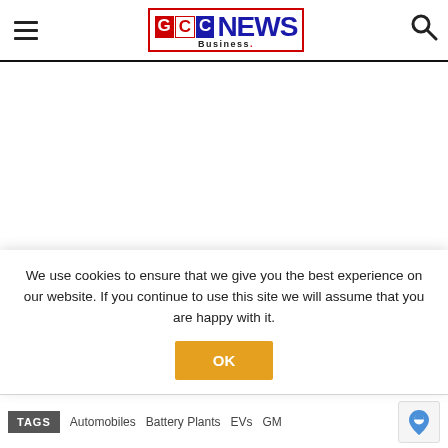[Figure (logo): GCC Business News logo with hamburger menu and search icon in header]
We use cookies to ensure that we give you the best experience on our website. If you continue to use this site we will assume that you are happy with it.
OK
TAGS  Automobiles  Battery Plants  EVs  GM